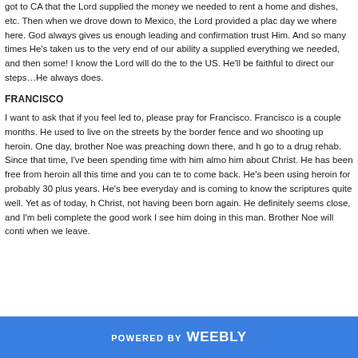got to CA that the Lord supplied the money we needed to rent a home and dishes, etc. Then when we drove down to Mexico, the Lord provided a place day we where here. God always gives us enough leading and confirmation to trust Him. And so many times He's taken us to the very end of our ability and supplied everything we needed, and then some! I know the Lord will do the same to the US. He'll be faithful to direct our steps…He always does.
FRANCISCO
I want to ask that if you feel led to, please pray for Francisco. Francisco is a couple months. He used to live on the streets by the border fence and was shooting up heroin. One day, brother Noe was preaching down there, and he go to a drug rehab. Since that time, I've been spending time with him almost him about Christ. He has been free from heroin all this time and you can tell to come back. He's been using heroin for probably 30 plus years. He's been everyday and is coming to know the scriptures quite well. Yet as of today, he Christ, not having been born again. He definitely seems close, and I'm believing complete the good work I see him doing in this man. Brother Noe will continue when we leave.
POWERED BY weebly